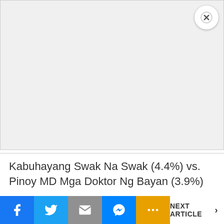[Figure (other): Gray advertisement placeholder box with a circular close (X) button in the top-right corner]
Kabuhayang Swak Na Swak (4.4%) vs. Pinoy MD Mga Doktor Ng Bayan (3.9%)
Salamat Dok (4.7%) vs. Blazing Teens 2
[Figure (other): Bottom share/navigation bar with Facebook, Twitter, Email, Messenger, More buttons and NEXT ARTICLE link]